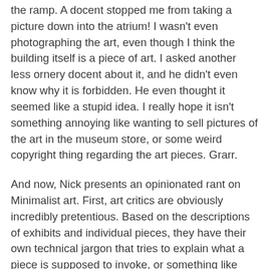the ramp. A docent stopped me from taking a picture down into the atrium! I wasn't even photographing the art, even though I think the building itself is a piece of art. I asked another less ornery docent about it, and he didn't even know why it is forbidden. He even thought it seemed like a stupid idea. I really hope it isn't something annoying like wanting to sell pictures of the art in the museum store, or some weird copyright thing regarding the art pieces. Grarr.
And now, Nick presents an opinionated rant on Minimalist art. First, art critics are obviously incredibly pretentious. Based on the descriptions of exhibits and individual pieces, they have their own technical jargon that tries to explain what a piece is supposed to invoke, or something like that. Second, as someone with minimal visual art skills, if I can reproduce a piece with no extra training, or with mass-produced elements, etc. it's probably not art. I'm sure this offends someone out there, but how is a painted plank against a wall art? Do you consider it art when you repaint a room in a house? Because some of the pieces were exactly that. Third, I note that I have